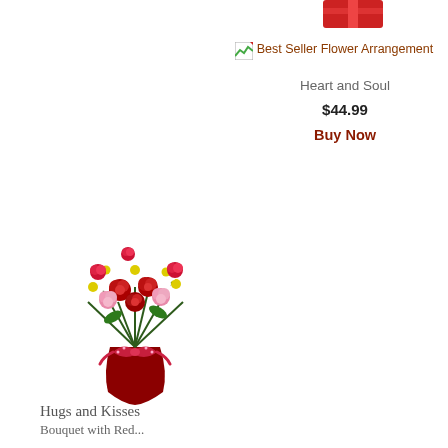[Figure (photo): Partial gift box image at top right, red colored box]
[Figure (photo): Broken/placeholder image icon for Best Seller Flower Arrangement product]
Best Seller Flower Arrangement
Heart and Soul
$44.99
Buy Now
[Figure (photo): Flower arrangement in a dark red vase with red roses, white daisies, pink and red carnations, tied with a red polka-dot ribbon bow]
Hugs and Kisses
Bouquet with Red...